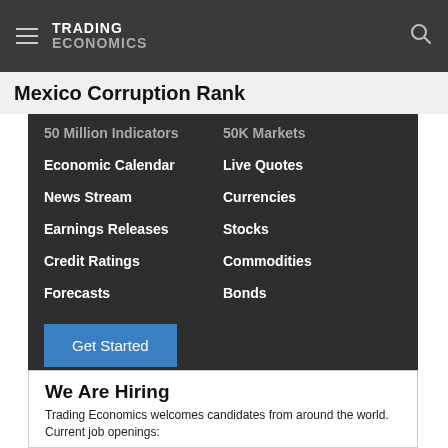TRADING ECONOMICS
Mexico Corruption Rank
50 Million Indicators
Economic Calendar
News Stream
Earnings Releases
Credit Ratings
Forecasts
50K Markets
Live Quotes
Currencies
Stocks
Commodities
Bonds
Get Started
We Are Hiring
Trading Economics welcomes candidates from around the world. Current job openings: